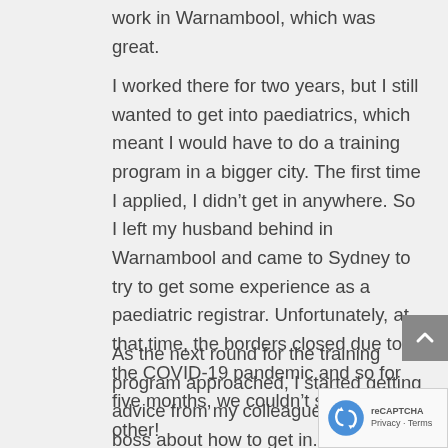work in Warnambool, which was great.
I worked there for two years, but I still wanted to get into paediatrics, which meant I would have to do a training program in a bigger city. The first time I applied, I didn't get in anywhere. So I left my husband behind in Warnambool and came to Sydney to try to get some experience as a paediatric registrar. Unfortunately, at that time, the borders closed due to the COVID-19 pandemic and so for five months, we couldn't see each other!
As the next round for the training program approached, I started getting advice from my colleagues and my boss about how to get in. I got them to check my resume, to give me interview coaching, anything that might help. Thankfully, it worked, and I was accepted into the program in